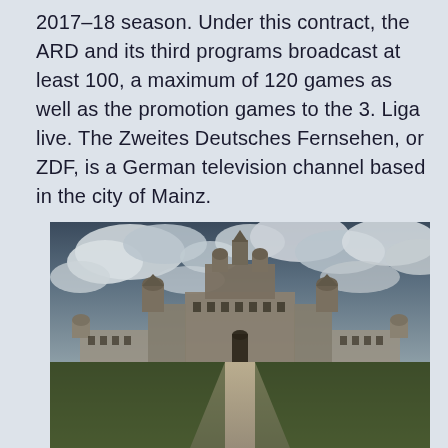2017–18 season. Under this contract, the ARD and its third programs broadcast at least 100, a maximum of 120 games as well as the promotion games to the 3. Liga live. The Zweites Deutsches Fernsehen, or ZDF, is a German television channel based in the city of Mainz.
[Figure (photo): Photograph of Château de Chambord, a large French Renaissance castle with ornate roofline of towers and chimneys, symmetrical facade, long straight path leading to the entrance, green lawn in foreground, dramatic cloudy sky overhead.]